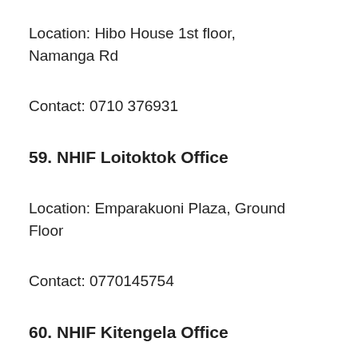Location: Hibo House 1st floor, Namanga Rd
Contact: 0710 376931
59. NHIF Loitoktok Office
Location: Emparakuoni Plaza, Ground Floor
Contact: 0770145754
60. NHIF Kitengela Office